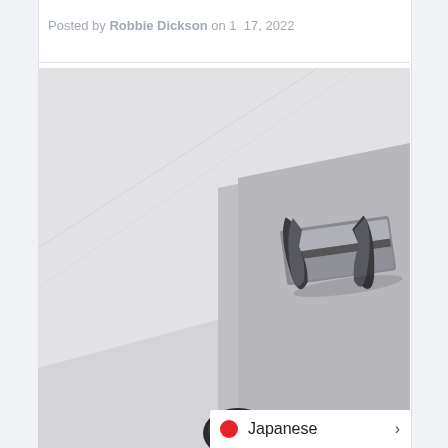Posted by Robbie Dickson on 1  17, 2022
[Figure (photo): Close-up photo of a clipboard with a metal binder clip, shot at an angle against a light grey/white background]
Japanese >